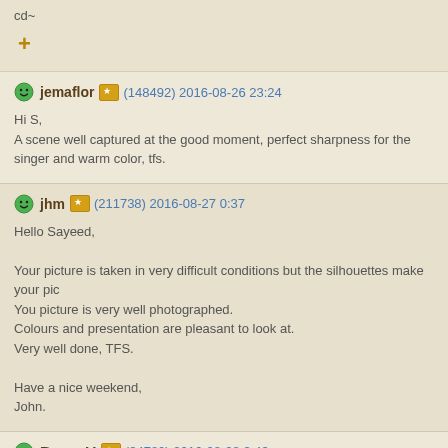cd~
+
jemaflor (148492) 2016-08-26 23:24
Hi S,
A scene well captured at the good moment, perfect sharpness for the singer and warm color, tfs.
jhm (211738) 2016-08-27 0:37
Hello Sayeed,

Your picture is taken in very difficult conditions but the silhouettes make your pic
You picture is very well photographed.
Colours and presentation are pleasant to look at.
Very well done, TFS.

Have a nice weekend,
John.
BennyV (34780) 2016-08-28 3:43